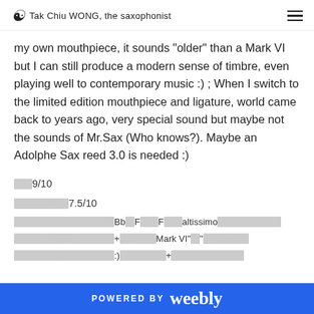Tak Chiu WONG, the saxophonist
my own mouthpiece, it sounds "older" than a Mark VI but I can still produce a modern sense of timbre, even playing well to contemporary music :) ; When I switch to the limited edition mouthpiece and ligature, world came back to years ago, very special sound but maybe not the sounds of Mr.Sax (Who knows?). Maybe an Adolphe Sax reed 3.0 is needed :)
[CJK]9/10
[CJK]7.5/10
[CJK]Bb[CJK]F[CJK]F[CJK]altissimo[CJK]
[CJK]+[CJK]Mark VI"[CJK]"[CJK]
[CJK]:)[CJK]+[CJK]
POWERED BY weebly